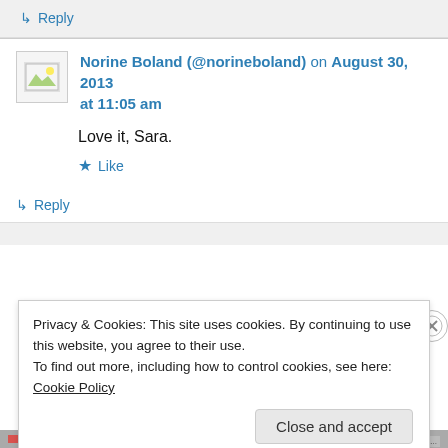↳ Reply
Norine Boland (@norineboland) on August 30, 2013 at 11:05 am
Love it, Sara.
★ Like
↳ Reply
Privacy & Cookies: This site uses cookies. By continuing to use this website, you agree to their use. To find out more, including how to control cookies, see here: Cookie Policy
Close and accept